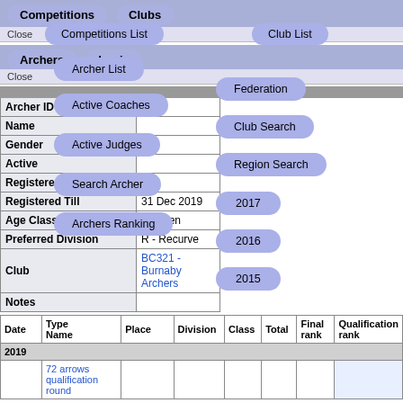Competitions | Clubs
Competitions List
Club List
Archers | Login
Archer List
Federation
Active Coaches
Club Search
Active Judges
Region Search
Search Archer
2017
Archers Ranking
2016
2015
| Field | Value |
| --- | --- |
| Archer ID |  |
| Name |  |
| Gender |  |
| Active |  |
| Registered |  |
| Registered Till | 31 Dec 2019 |
| Age Class | M - Men |
| Preferred Division | R - Recurve |
| Club | BC321 - Burnaby Archers |
| Notes |  |
| Date | Type Name | Place | Division | Class | Total | Final rank | Qualification rank |
| --- | --- | --- | --- | --- | --- | --- | --- |
| 2019 |  |  |  |  |  |  |  |
|  | 72 arrows qualification round |  |  |  |  |  |  |